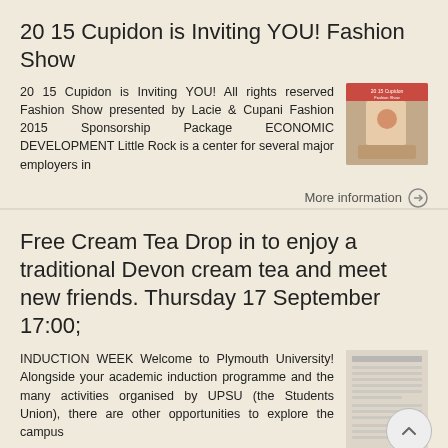20 15 Cupidon is Inviting YOU! Fashion Show
20 15 Cupidon is Inviting YOU! All rights reserved Fashion Show presented by Lacie & Cupani Fashion 2015 Sponsorship Package ECONOMIC DEVELOPMENT Little Rock is a center for several major employers in
[Figure (photo): Small thumbnail image for the 20 15 Cupidon Fashion Show event]
More information →
Free Cream Tea Drop in to enjoy a traditional Devon cream tea and meet new friends. Thursday 17 September 17:00;
INDUCTION WEEK Welcome to Plymouth University! Alongside your academic induction programme and the many activities organised by UPSU (the Students Union), there are other opportunities to explore the campus
[Figure (photo): Small thumbnail image for Plymouth University induction week document]